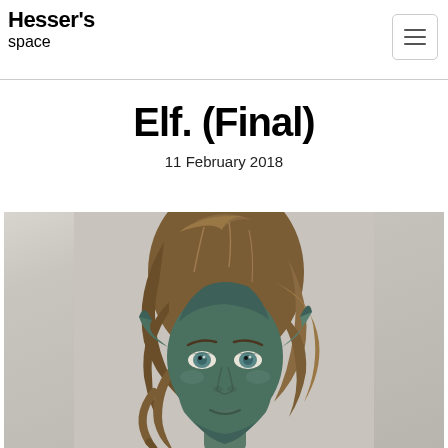Hesser's space
Elf. (Final)
11 February 2018
[Figure (photo): 3D rendered bust of a female elf character with pointed ears, teal/green-toned skin, flowing brown hair styled upward, and realistic facial features on a light gray background.]